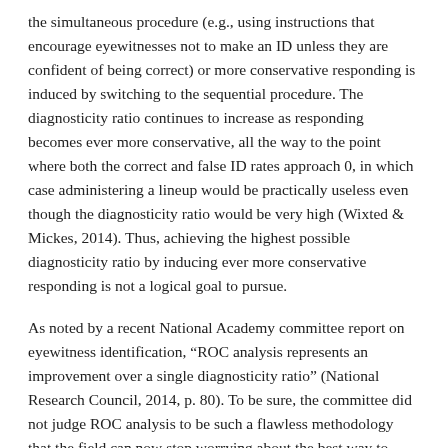the simultaneous procedure (e.g., using instructions that encourage eyewitnesses not to make an ID unless they are confident of being correct) or more conservative responding is induced by switching to the sequential procedure. The diagnosticity ratio continues to increase as responding becomes ever more conservative, all the way to the point where both the correct and false ID rates approach 0, in which case administering a lineup would be practically useless even though the diagnosticity ratio would be very high (Wixted & Mickes, 2014). Thus, achieving the highest possible diagnosticity ratio by inducing ever more conservative responding is not a logical goal to pursue.
As noted by a recent National Academy committee report on eyewitness identification, “ROC analysis represents an improvement over a single diagnosticity ratio” (National Research Council, 2014, p. 80). To be sure, the committee did not judge ROC analysis to be such a flawless methodology that the field can now stop worrying about the best way to compare lineup procedures and use ROC analysis forevermore. Instead, the committee also expressed reservations about confidence-based ROC analysis